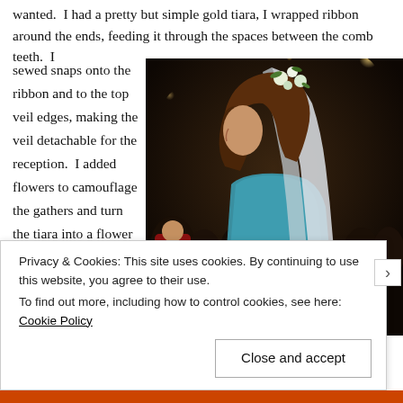wanted. I had a pretty but simple gold tiara, I wrapped ribbon around the ends, feeding it through the spaces between the comb teeth. I sewed snaps onto the ribbon and to the top veil edges, making the veil detachable for the reception. I added flowers to camouflage the gathers and turn the tiara into a flower
[Figure (photo): A bride seen from behind with brown hair, wearing a blue/teal dress with a white veil and floral headpiece, standing in a dark venue with crowd in background.]
Privacy & Cookies: This site uses cookies. By continuing to use this website, you agree to their use.
To find out more, including how to control cookies, see here: Cookie Policy
Close and accept